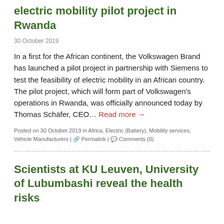electric mobility pilot project in Rwanda
30 October 2019
In a first for the African continent, the Volkswagen Brand has launched a pilot project in partnership with Siemens to test the feasibility of electric mobility in an African country. The pilot project, which will form part of Volkswagen's operations in Rwanda, was officially announced today by Thomas Schäfer, CEO… Read more →
Posted on 30 October 2019 in Africa, Electric (Battery), Mobility services, Vehicle Manufacturers | 🔗 Permalink | 💬 Comments (0)
Scientists at KU Leuven, University of Lubumbashi reveal the health risks